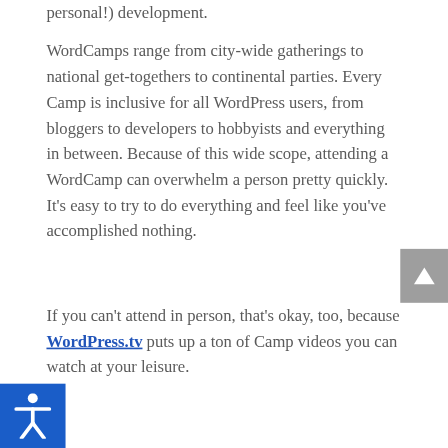personal!) development.
WordCamps range from city-wide gatherings to national get-togethers to continental parties. Every Camp is inclusive for all WordPress users, from bloggers to developers to hobbyists and everything in between. Because of this wide scope, attending a WordCamp can overwhelm a person pretty quickly. It’s easy to try to do everything and feel like you’ve accomplished nothing.
If you can’t attend in person, that’s okay, too, because WordPress.tv puts up a ton of Camp videos you can watch at your leisure.